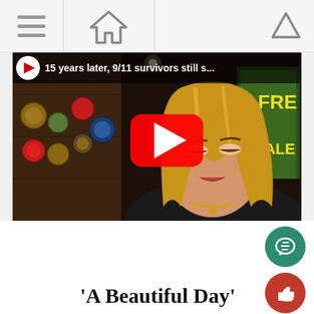Navigation bar with hamburger menu, home icon, and up arrow
[Figure (screenshot): YouTube video thumbnail showing a woman being interviewed in a bar setting. Video title reads '15 years later, 9/11 survivors still s...' with a YouTube play button overlay.]
'A Beautiful Day'